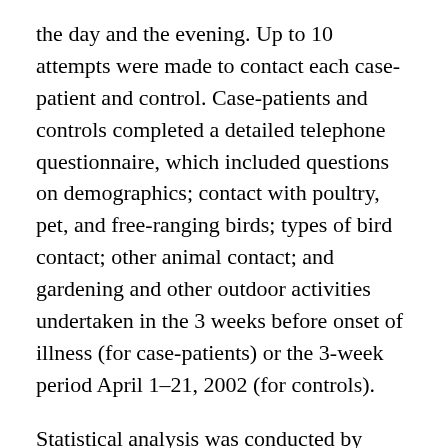the day and the evening. Up to 10 attempts were made to contact each case-patient and control. Case-patients and controls completed a detailed telephone questionnaire, which included questions on demographics; contact with poultry, pet, and free-ranging birds; types of bird contact; other animal contact; and gardening and other outdoor activities undertaken in the 3 weeks before onset of illness (for case-patients) or the 3-week period April 1–21, 2002 (for controls).
Statistical analysis was conducted by using SAS Version 8.02 (SAS Institute Inc., Cary, NC, USA) (20). In univariate analysis, we compared characteristics and potential risk factors reported by probable case-patients and controls. Univariate analysis was performed by using chi-square tests and logistic regression analysis. When expected cell counts were